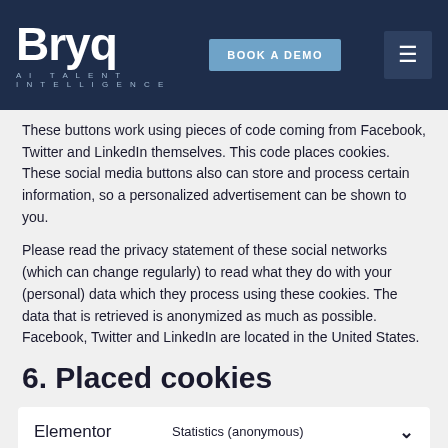Bryq AI Talent Intelligence | BOOK A DEMO
These buttons work using pieces of code coming from Facebook, Twitter and LinkedIn themselves. This code places cookies. These social media buttons also can store and process certain information, so a personalized advertisement can be shown to you.
Please read the privacy statement of these social networks (which can change regularly) to read what they do with your (personal) data which they process using these cookies. The data that is retrieved is anonymized as much as possible. Facebook, Twitter and LinkedIn are located in the United States.
6. Placed cookies
| Name | Purpose |
| --- | --- |
| Elementor | Statistics (anonymous) |
| Slider Revolution | Purpose pending investigation |